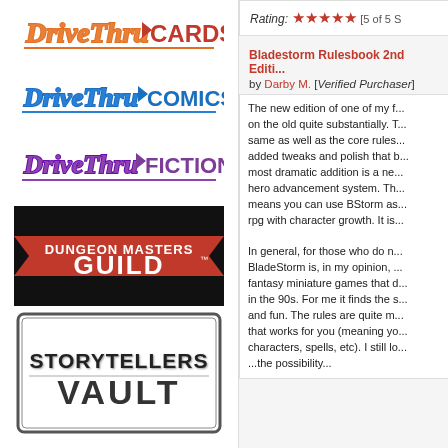[Figure (logo): DriveThruCards logo — orange and white script 'DriveThru' with red 'CARDS' text and arrow motif]
[Figure (logo): DriveThruComics logo — blue script 'DriveThru' with blue 'COMICS' text and arrow motif]
[Figure (logo): DriveThruFiction logo — purple script 'DriveThru' with purple 'FICTION' text and arrow motif]
[Figure (logo): Dungeon Masters Guild logo — black background with red lightning, white bold 'DUNGEON MASTERS' and 'GUILD' text]
[Figure (logo): Storytellers Vault logo — black and white stone-carved style text 'STORYTELLERS VAULT' with decorative border]
Rating: [5 of 5 S...] (stars)
Bladestorm Rulesbook 2nd Editi...
by Darby M. [Verified Purchaser]
The new edition of one of my f... on the old quite substantially. T... same as well as the core rules... added tweaks and polish that b... most dramatic addition is a ne... hero advancement system. Th... means you can use BStorm as... rpg with character growth. It is...

In general, for those who do n... BladeStorm is, in my opinion, ... fantasy miniature games that d... in the 90s. For me it finds the s... and fun. The rules are quite m... that works for you (meaning yo... characters, spells, etc). I still lo... ...the possibility...